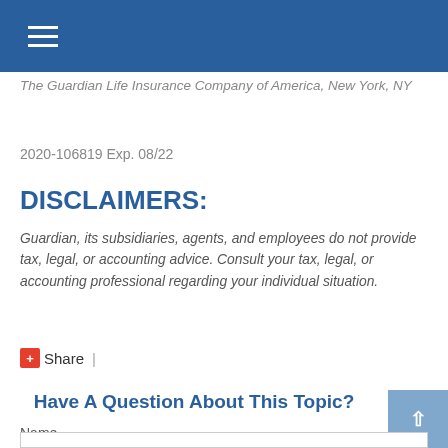The Guardian Life Insurance Company of America, New York, NY
2020-106819 Exp. 08/22
DISCLAIMERS:
Guardian, its subsidiaries, agents, and employees do not provide tax, legal, or accounting advice. Consult your tax, legal, or accounting professional regarding your individual situation.
Share |
Have A Question About This Topic?
Name